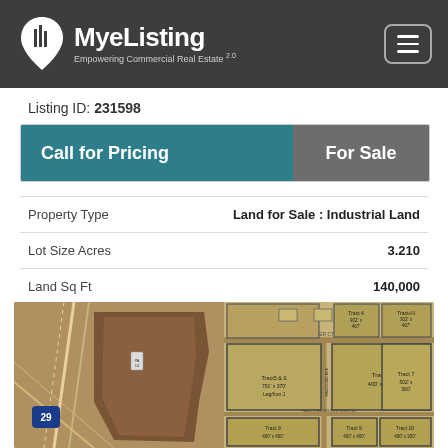MyeListing — Empowering Commercial Real Estate
Listing ID: 231598
Call for Pricing | For Sale
| Property Type | Land for Sale : Industrial Land |
| --- | --- |
| Lot Size Acres | 3.210 |
| Land Sq Ft | 140,000 |
[Figure (map): Aerial/satellite map view showing industrial land tracts including Tract 9 (400' x 400'), Tract 7 (502' x 360'), Tracts 5 & 6 (791' x 370'), Tract 9 (400' x 400'), Tract 10 (400' x 350'), and Interstate 29 visible at lower left.]